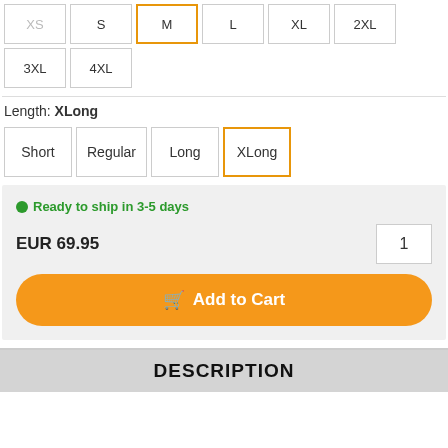XS S M L XL 2XL 3XL 4XL (size selector buttons)
Length: XLong
Short Regular Long XLong (length selector buttons)
Ready to ship in 3-5 days
EUR 69.95
Add to Cart
DESCRIPTION